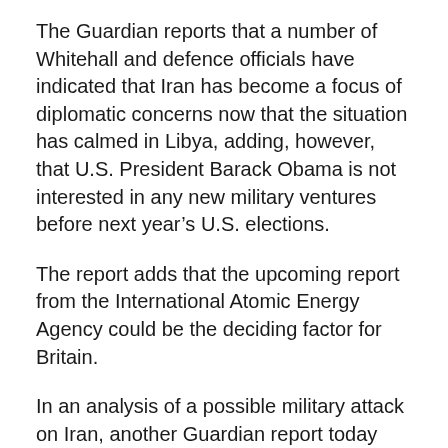The Guardian reports that a number of Whitehall and defence officials have indicated that Iran has become a focus of diplomatic concerns now that the situation has calmed in Libya, adding, however, that U.S. President Barack Obama is not interested in any new military ventures before next year’s U.S. elections.
The report adds that the upcoming report from the International Atomic Energy Agency could be the deciding factor for Britain.
In an analysis of a possible military attack on Iran, another Guardian report today warns that “an attack on Iran would halt and reverse moves to reform. The Arab spring would become an Arab winter with disastrous consequences for U.S. and European interests as well as Arab societies.”